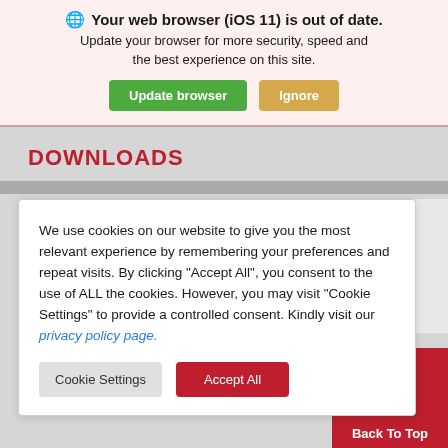Your web browser (iOS 11) is out of date. Update your browser for more security, speed and the best experience on this site.
Update browser | Ignore
DOWNLOADS
We use cookies on our website to give you the most relevant experience by remembering your preferences and repeat visits. By clicking "Accept All", you consent to the use of ALL the cookies. However, you may visit "Cookie Settings" to provide a controlled consent. Kindly visit our privacy policy page.
Cookie Settings | Accept All
Back To Top